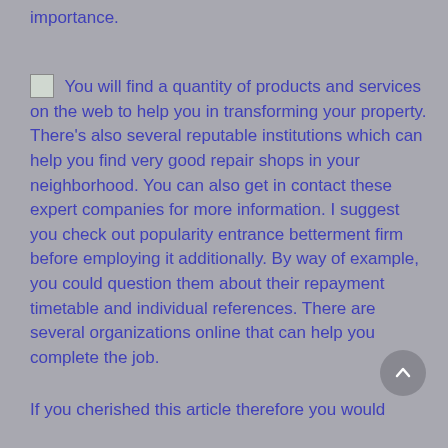importance.
You will find a quantity of products and services on the web to help you in transforming your property. There’s also several reputable institutions which can help you find very good repair shops in your neighborhood. You can also get in contact these expert companies for more information. I suggest you check out popularity entrance betterment firm before employing it additionally. By way of example, you could question them about their repayment timetable and individual references. There are several organizations online that can help you complete the job.
If you cherished this article therefore you would